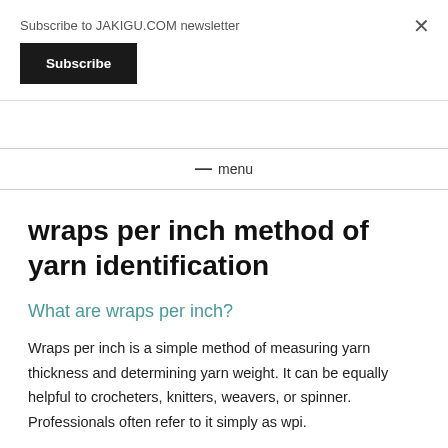Subscribe to JAKIGU.COM newsletter
Subscribe
✕
≡ menu
wraps per inch method of yarn identification
What are wraps per inch?
Wraps per inch is a simple method of measuring yarn thickness and determining yarn weight. It can be equally helpful to crocheters, knitters, weavers, or spinner. Professionals often refer to it simply as wpi.